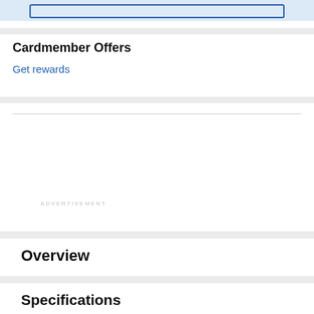[Figure (screenshot): Top blue banner with a rectangular outline button placeholder]
Cardmember Offers
Get rewards
ADVERTISEMENT
Overview
Specifications